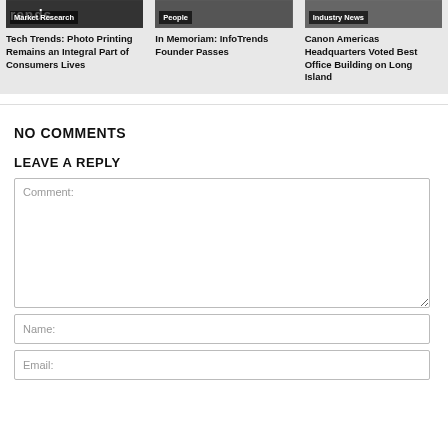[Figure (photo): Market Research card image - dark photo with badge]
Tech Trends: Photo Printing Remains an Integral Part of Consumers Lives
[Figure (photo): People card image - dark photo with badge]
In Memoriam: InfoTrends Founder Passes
[Figure (photo): Industry News card image - dark photo with badge]
Canon Americas Headquarters Voted Best Office Building on Long Island
NO COMMENTS
LEAVE A REPLY
Comment:
Name:
Email: